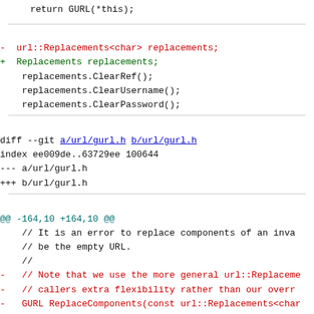return GURL(*this);
- url::Replacements<char> replacements;
+ Replacements replacements;
    replacements.ClearRef();
    replacements.ClearUsername();
    replacements.ClearPassword();
diff --git a/url/gurl.h b/url/gurl.h
index ee009de..63729ee 100644
--- a/url/gurl.h
+++ b/url/gurl.h
@@ -164,10 +164,10 @@
    // It is an error to replace components of an inva
    // be the empty URL.
    //
-   // Note that we use the more general url::Replaceme
-   // callers extra flexibility rather than our overr
-   GURL ReplaceComponents(const url::Replacements<char
-   GURL ReplaceComponents(const url::Replacements<char
+   // Note that this intentionally disallows direct us
+   // which is harder to use correctly